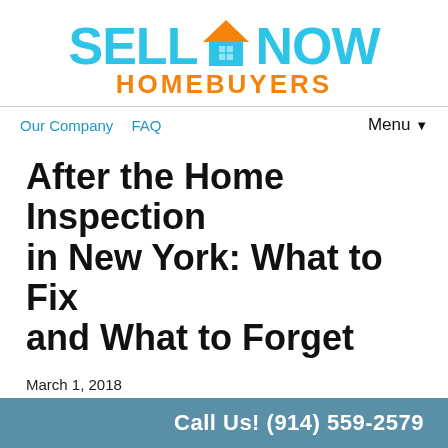[Figure (logo): Sell Now Homebuyers logo with house icon and orange/cyan color scheme]
Our Company   FAQ   Menu ▼
After the Home Inspection in New York: What to Fix and What to Forget
March 1, 2018
By Dave Brown
After the home inspection process in New York, there are like...
Call Us! (914) 559-2579